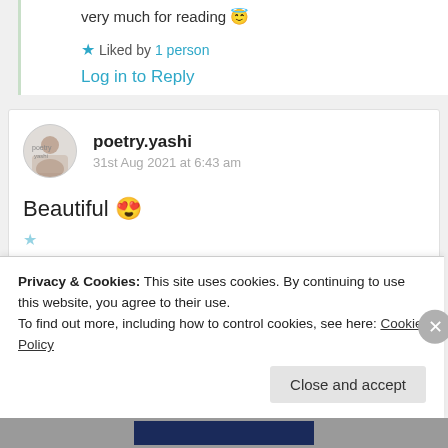very much for reading 😇
★ Liked by 1 person
Log in to Reply
poetry.yashi
31st Aug 2021 at 6:43 am
Beautiful 😍
Privacy & Cookies: This site uses cookies. By continuing to use this website, you agree to their use. To find out more, including how to control cookies, see here: Cookie Policy
Close and accept